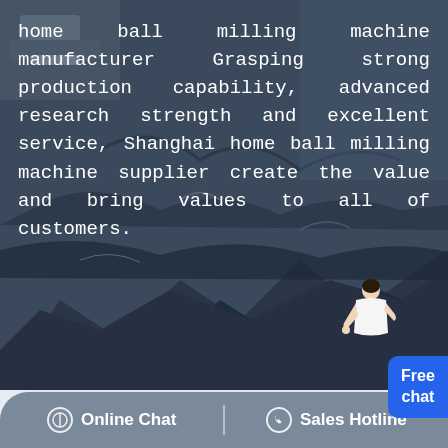[Figure (photo): Aerial view of a dark rocky mining/quarry terrain with heavy equipment visible in the upper left corner]
home ball milling machine manufacturer Grasping strong production capability, advanced research strength and excellent service, Shanghai home ball milling machine supplier create the value and bring values to all of customers.
Get home ball milling machine Price
supplier@pfpew.com
Products: Please Select!
Capacity: >100 TPH  >50 TPH  >30 TPH
Online Chat | Sales Hotline